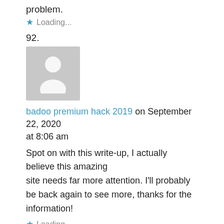problem.
★ Loading...
92.
[Figure (illustration): Default user avatar placeholder - grey square with white silhouette of a person]
badoo premium hack 2019 on September 22, 2020 at 8:06 am
Spot on with this write-up, I actually believe this amazing site needs far more attention. I'll probably be back again to see more, thanks for the information!
★ Loading...
93.
[Figure (illustration): Default user avatar placeholder - grey square with white circle/head shape]